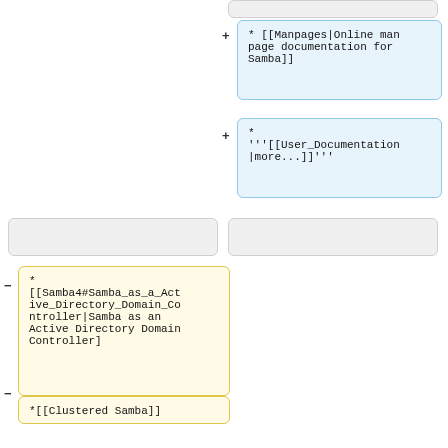[Figure (screenshot): Diff/comparison view of wiki markup. Right column shows two blue highlighted boxes with added lines (marked with +): first contains '* [[Manpages|Online man page documentation for Samba]]', second contains '* '''[[User_Documentation|more...]]''''. Left column shows gray empty box. Below left column: four yellow highlighted boxes with removed lines (marked with -): '* [[Samba4#Samba_as_a_Active_Directory_Domain_Controller|Samba as an Active Directory Domain Controller]]', '*[[Clustered Samba]]', '*[[UNIX Extensions]]', '*[[Bugzilla Day]]'.]